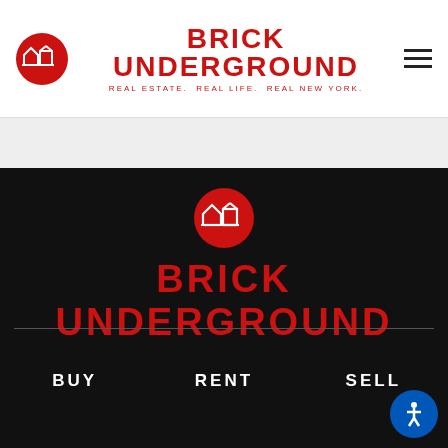[Figure (logo): Brick Underground circular logo icon - red circle with white building/house line art]
BRICK UNDERGROUND
REAL ESTATE.  REAL LIFE.  REAL NEW YORK.
[Figure (logo): Brick Underground circular logo icon on black background - red circle with white building/house line art]
BRICK UNDERGROUND
BUY
RENT
SELL
LIVE
IMPROVE
ESCAPE